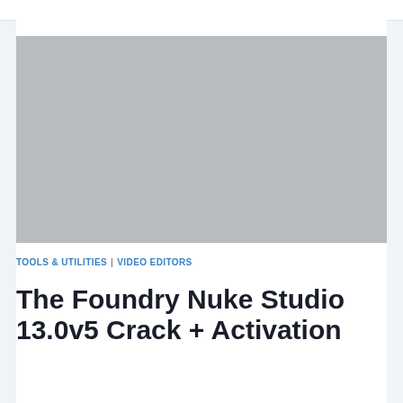[Figure (photo): Large gray placeholder image rectangle at the top of the article page]
TOOLS & UTILITIES | VIDEO EDITORS
The Foundry Nuke Studio 13.0v5 Crack + Activation